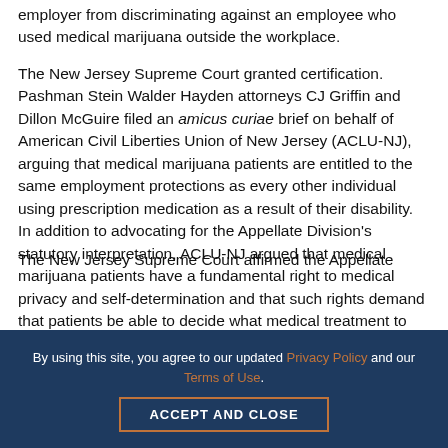employer from discriminating against an employee who used medical marijuana outside the workplace.
The New Jersey Supreme Court granted certification. Pashman Stein Walder Hayden attorneys CJ Griffin and Dillon McGuire filed an amicus curiae brief on behalf of American Civil Liberties Union of New Jersey (ACLU-NJ), arguing that medical marijuana patients are entitled to the same employment protections as every other individual using prescription medication as a result of their disability. In addition to advocating for the Appellate Division's statutory interpretation, ACLU-NJ argued that medical marijuana patients have a fundamental right to medical privacy and self-determination and that such rights demand that patients be able to decide what medical treatment to pursue, including opting to use medical marijuana, in lieu of highly addictive and dangerous opiates, to treat pain.
By using this site, you agree to our updated Privacy Policy and our Terms of Use.
ACCEPT AND CLOSE
The New Jersey Supreme Court affirmed the Appellate